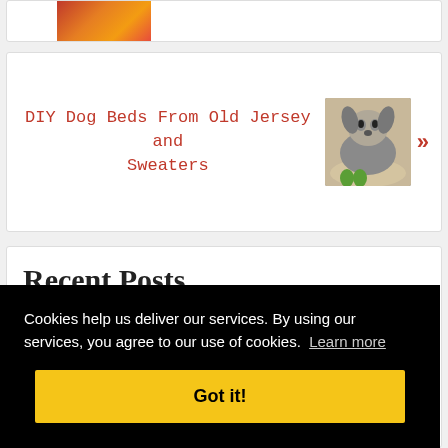[Figure (photo): Partially visible image, appears to show warm orange/red tones, possibly food or fire]
DIY Dog Beds From Old Jersey and Sweaters
[Figure (photo): A small fluffy dog lying in a dog bed, with green toy items nearby]
Recent Posts
Cookies help us deliver our services. By using our services, you agree to our use of cookies. Learn more
Got it!
10 DIY Light Box Ideas That Are Easy To